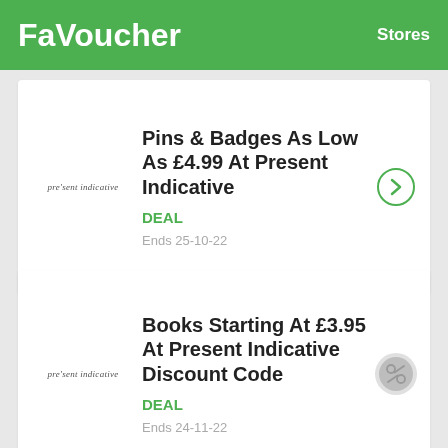FaVoucher   Stores
Pins & Badges As Low As £4.99 At Present Indicative
DEAL
Ends 25-10-22
Books Starting At £3.95 At Present Indicative Discount Code
DEAL
Ends 24-11-22